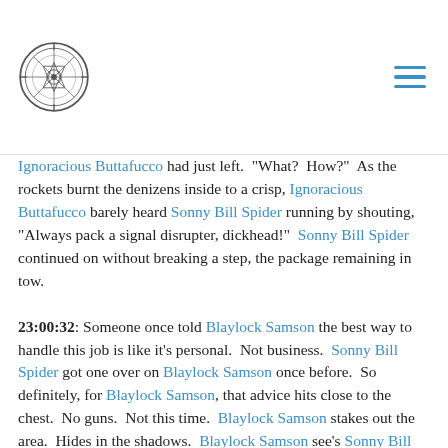[logo] [hamburger menu]
Ignoracious Buttafucco had just left.  "What?  How?"  As the rockets burnt the denizens inside to a crisp, Ignoracious Buttafucco barely heard Sonny Bill Spider running by shouting, "Always pack a signal disrupter, dickhead!"  Sonny Bill Spider continued on without breaking a step, the package remaining in tow.
23:00:32: Someone once told Blaylock Samson the best way to handle this job is like it's personal.  Not business.  Sonny Bill Spider got one over on Blaylock Samson once before.  So definitely, for Blaylock Samson, that advice hits close to the chest.  No guns.  Not this time.  Blaylock Samson stakes out the area.  Hides in the shadows.  Blaylock Samson see's Sonny Bill Spider running hurriedly down the street.  Blaylock Samson takes one last look at the triple